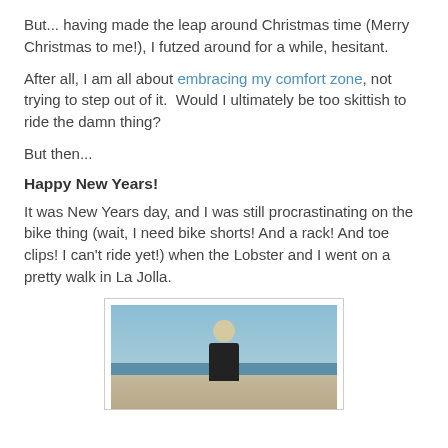But... having made the leap around Christmas time (Merry Christmas to me!), I futzed around for a while, hesitant.
After all, I am all about embracing my comfort zone, not trying to step out of it.  Would I ultimately be too skittish to ride the damn thing?
But then...
Happy New Years!
It was New Years day, and I was still procrastinating on the bike thing (wait, I need bike shorts! And a rack! And toe clips! I can't ride yet!) when the Lobster and I went on a pretty walk in La Jolla.
[Figure (photo): A person standing on a beach in La Jolla with the ocean and sky in the background.]